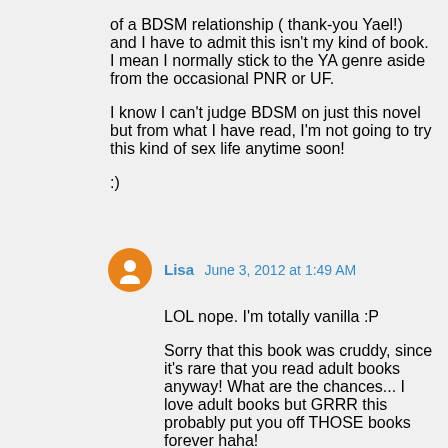of a BDSM relationship ( thank-you Yael!) and I have to admit this isn't my kind of book. I mean I normally stick to the YA genre aside from the occasional PNR or UF.
I know I can't judge BDSM on just this novel but from what I have read, I'm not going to try this kind of sex life anytime soon!
:)
Lisa  June 3, 2012 at 1:49 AM
LOL nope. I'm totally vanilla :P
Sorry that this book was cruddy, since it's rare that you read adult books anyway! What are the chances... I love adult books but GRRR this probably put you off THOSE books forever haha!
Trust me, if you had read another book about this topic you may think differently :P